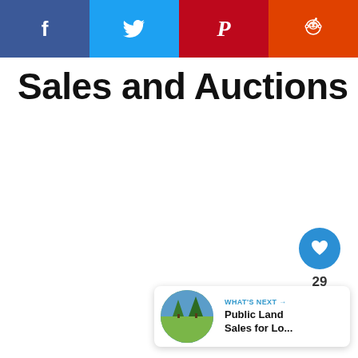[Figure (other): Social share buttons bar with Facebook (blue-purple), Twitter (light blue), Pinterest (red/maroon), Reddit (orange-red) icons]
Sales and Auctions
[Figure (other): Like button (blue circle with heart icon), count showing 29, and share button (grey circle with share icon)]
[Figure (other): What's Next card with thumbnail image showing a landscape with trees, label 'WHAT'S NEXT →', and title 'Public Land Sales for Lo...']